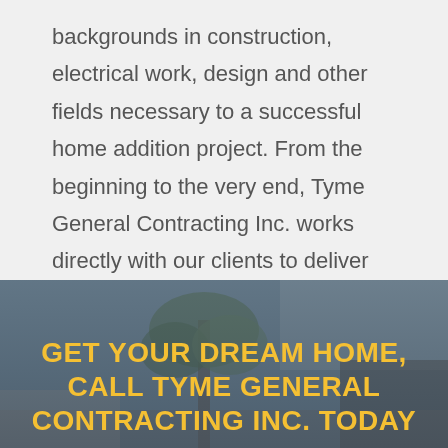backgrounds in construction, electrical work, design and other fields necessary to a successful home addition project. From the beginning to the very end, Tyme General Contracting Inc. works directly with our clients to deliver results that are guaranteed to exceed expectations, time and time again.
[Figure (photo): Background photo of a room interior with trees/plants and furniture, overlaid with a dark semi-transparent layer. Contains large yellow bold call-to-action text: GET YOUR DREAM HOME, CALL TYME GENERAL CONTRACTING INC. TODAY]
GET YOUR DREAM HOME, CALL TYME GENERAL CONTRACTING INC. TODAY